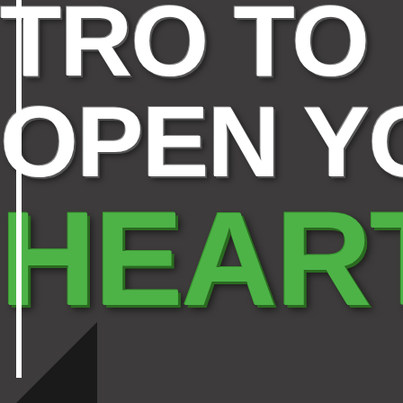[Figure (illustration): Cropped book cover with dark gray background, white vertical bar on left edge, large bold white 3D text partially visible reading 'OPEN YO' on two lines, large bold green 3D text partially visible reading 'HEART C' on third line, black triangle shape in bottom-left corner]